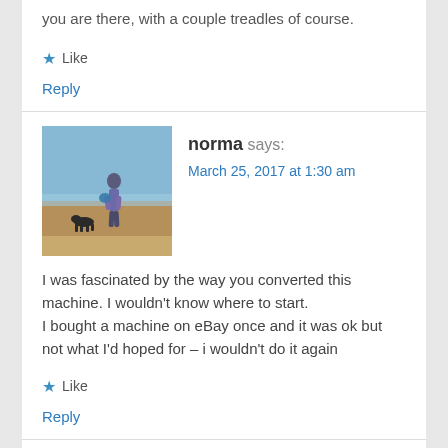you are there, with a couple treadles of course.
Like
Reply
[Figure (photo): Avatar photo of norma, a person standing on a beach with a dog]
norma says:
March 25, 2017 at 1:30 am
I was fascinated by the way you converted this machine. I wouldn't know where to start.
I bought a machine on eBay once and it was ok but not what I'd hoped for – i wouldn't do it again
Like
Reply
[Figure (illustration): Avatar icon for John, dark blue/navy with white geometric square pattern]
John says:
March 25, 2017 at 6:26 am